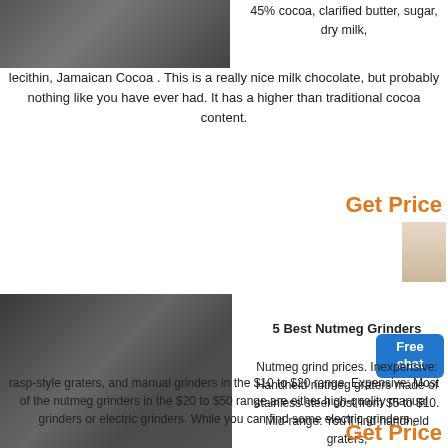[Figure (photo): Industrial machinery in a warehouse facility, top-left portion of page]
45% cocoa, clarified butter, sugar, dry milk, lecithin, Jamaican Cocoa . This is a really nice milk chocolate, but probably nothing like you have ever had. It has a higher than traditional cocoa content.
Get Price
[Figure (photo): Large industrial grinding/milling machines inside a large warehouse/factory]
5 Best Nutmeg Grinders
Free chat
Nutmeg grind prices. Inexpensive: Handheld nutmeg graters made of stainless steel cost from $5 to $10. Mid-range: You'll find handheld graters, rasp-style graters, and manual grinders in the $10 to $20 range. Expensive: Most of the nutmeg grinders in the $20 to $50 range are either high-quality manual grinders or electric grinders. While you can find some electric grinders
Get Price